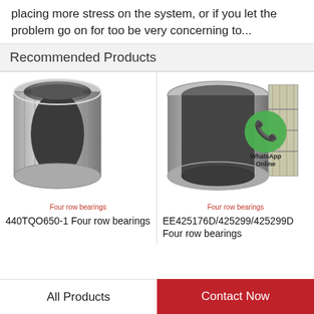placing more stress on the system, or if you let the problem go on for too be very concerning to...
Recommended Products
[Figure (photo): Four row tapered roller bearing product photo labeled '440TQO650-1 Four row bearings' with red caption 'Four row bearings']
[Figure (photo): Four row cylindrical roller bearing product photo labeled 'EE425176D/425299/425299D Four row bearings' with WhatsApp Online overlay and red caption 'Four row bearings']
440TQO650-1 Four row bearings
EE425176D/425299/425299D Four row bearings
All Products
Contact Now